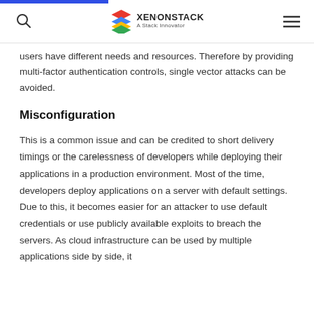XENONSTACK A Stack Innovator
users have different needs and resources. Therefore by providing multi-factor authentication controls, single vector attacks can be avoided.
Misconfiguration
This is a common issue and can be credited to short delivery timings or the carelessness of developers while deploying their applications in a production environment. Most of the time, developers deploy applications on a server with default settings. Due to this, it becomes easier for an attacker to use default credentials or use publicly available exploits to breach the servers. As cloud infrastructure can be used by multiple applications side by side, it